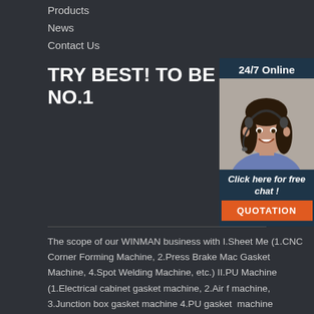Products
News
Contact Us
TRY BEST! TO BE NO.1
[Figure (photo): 24/7 Online customer service agent photo with headset, smiling woman, with Click here for free chat and QUOTATION button]
The scope of our WINMAN business with I.Sheet Me (1.CNC Corner Forming Machine, 2.Press Brake Mac Gasket Machine, 4.Spot Welding Machine, etc.) II.PU Machine (1.Electrical cabinet gasket machine, 2.Air f machine, 3.Junction box gasket machine 4.PU gasket machine 5.Customized Gasket Seal Solution 6.Robot System, etc.
Sitemap | kuwait electrical enclosure gaskets short supply | west asia digital panel meters supplier | saudi arabia trustworthy pu gasket dispensing machine